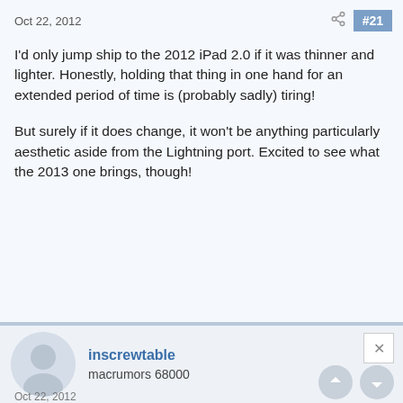Oct 22, 2012  #21
I'd only jump ship to the 2012 iPad 2.0 if it was thinner and lighter. Honestly, holding that thing in one hand for an extended period of time is (probably sadly) tiring!
But surely if it does change, it won't be anything particularly aesthetic aside from the Lightning port. Excited to see what the 2013 one brings, though!
inscrewtable
macrumors 68000